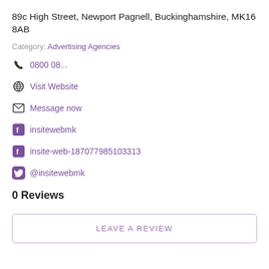89c High Street, Newport Pagnell, Buckinghamshire, MK16 8AB
Category: Advertising Agencies
📞 0800 08...
🌐 Visit Website
✉ Message now
f insitewebmk
f insite-web-187077985103313
🐦 @insitewebmk
0 Reviews
LEAVE A REVIEW